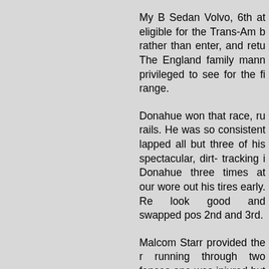My B Sedan Volvo, 6th at eligible for the Trans-Am b rather than enter, and retu The England family mann privileged to see for the fi range.

Donahue won that race, ru rails. He was so consistent lapped all but three of his spectacular, dirt- tracking i Donahue three times at our wore out his tires early. Re look good and swapped pos 2nd and 3rd.

Malcom Starr provided the r running through two fences one was injured but the ra confusion.

It was an unforgettable day our state. I had a lot of trac for the first time what true pr I had not entered. I would h